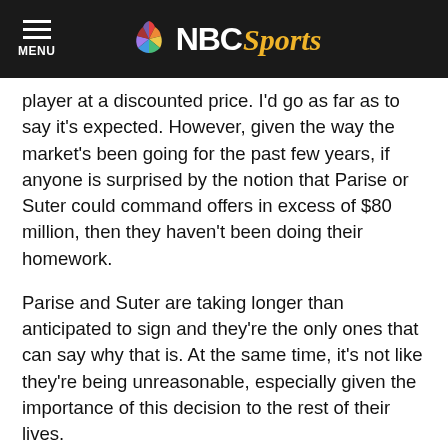NBC Sports
player at a discounted price. I'd go as far as to say it's expected. However, given the way the market's been going for the past few years, if anyone is surprised by the notion that Parise or Suter could command offers in excess of $80 million, then they haven't been doing their homework.
Parise and Suter are taking longer than anticipated to sign and they're the only ones that can say why that is. At the same time, it's not like they're being unreasonable, especially given the importance of this decision to the rest of their lives.
So in the end, I remain skeptical that the Flyers' bids have thrown a wrench in the process, but if Philadelphia has really managed to drive up the price for Suter or Parise, then Holmgren has helped his team out in the